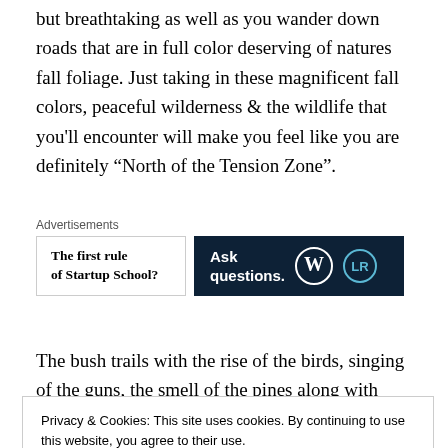but breathtaking as well as you wander down roads that are in full color deserving of natures fall foliage. Just taking in these magnificent fall colors, peaceful wilderness & the wildlife that you'll encounter will make you feel like you are definitely “North of the Tension Zone”.
[Figure (other): Advertisement area with two ads: left ad for 'The first rule of Startup School?' and right ad for WordPress/Longreads 'Ask questions.']
The bush trails with the rise of the birds, singing of the guns, the smell of the pines along with friendly comraderie
Privacy & Cookies: This site uses cookies. By continuing to use this website, you agree to their use.
To find out more, including how to control cookies, see here: Cookie Policy
on a sunny fall afternoon you will see hoards of them